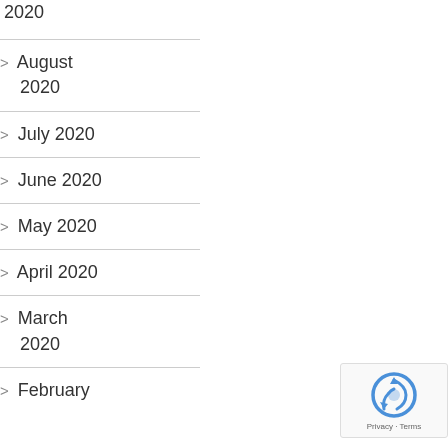2020
August 2020
July 2020
June 2020
May 2020
April 2020
March 2020
February